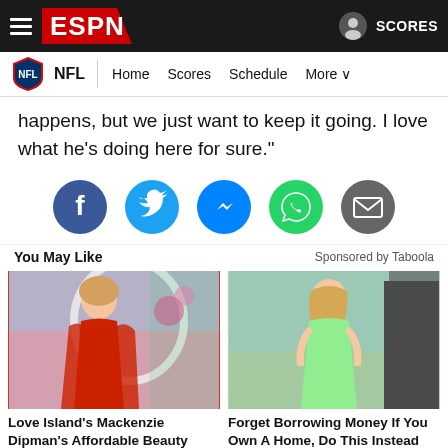ESPN - NFL - Home Scores Schedule More
happens, but we just want to keep it going. I love what he's doing here for sure."
[Figure (infographic): Social sharing icons: Facebook, Twitter, Messenger, WhatsApp, Email]
You May Like
Sponsored by Taboola
[Figure (photo): Love Island's Mackenzie Dipman wearing red bikini outdoors]
Love Island's Mackenzie Dipman's Affordable Beauty Secrets
[Figure (photo): Woman in green outfit standing outdoors]
Forget Borrowing Money If You Own A Home, Do This Instead (It's Genius)